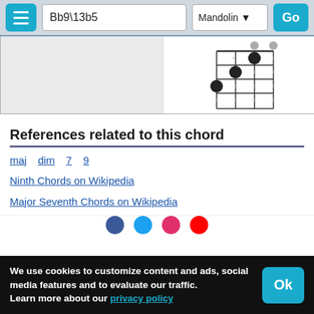Bb9\13b5 — Mandolin — Go
[Figure (other): Mandolin chord diagram for Bb9\13b5 showing fretboard grid with finger position dots]
References related to this chord
maj  dim  7  9
Ninth Chords on Wikipedia
Major Seventh Chords on Wikipedia
We use cookies to customize content and ads, social media features and to evaluate our traffic. Learn more about our privacy policy
Ok